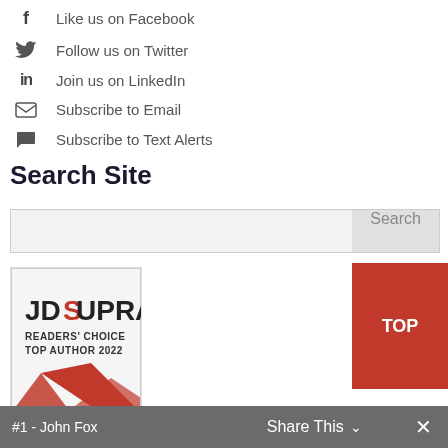Like us on Facebook
Follow us on Twitter
Join us on LinkedIn
Subscribe to Email
Subscribe to Text Alerts
Search Site
[Figure (screenshot): Search input box with Search button]
[Figure (logo): JD Supra Readers Choice Top Author 2022 badge]
Government Contracting:
#1 - John Fox
Share This  ✕